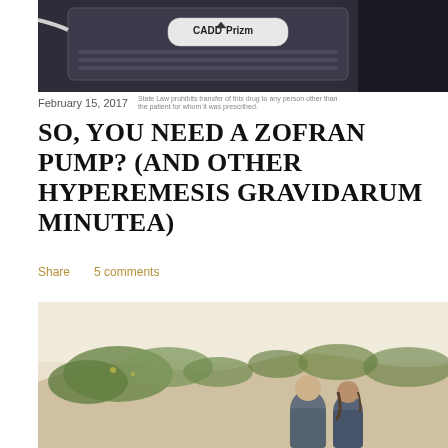[Figure (photo): Close-up photo of a CADD Prizm infusion pump device, dark blue/black color, with tubing and a blue connector visible. Medical device used for drug delivery.]
February 15, 2017
SO, YOU NEED A ZOFRAN PUMP? (AND OTHER HYPEREMESIS GRAVIDARUM MINUTEA)
Share   5 comments
[Figure (photo): Outdoor photo of a couple (man and woman) standing together on a sandy dune with ivy/green plants, with a pale sky background. The couple appears to be smiling at each other.]